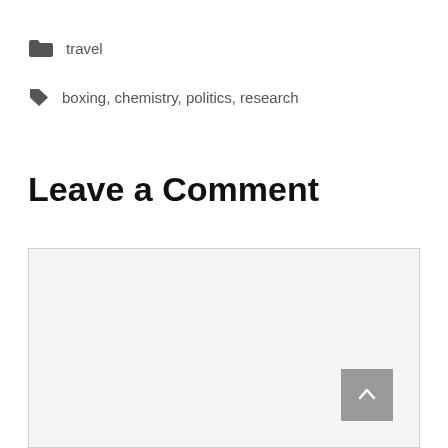travel
boxing, chemistry, politics, research
Leave a Comment
[Figure (screenshot): Empty comment text area input box with light gray background and border, with a scroll-to-top button in the bottom right corner]